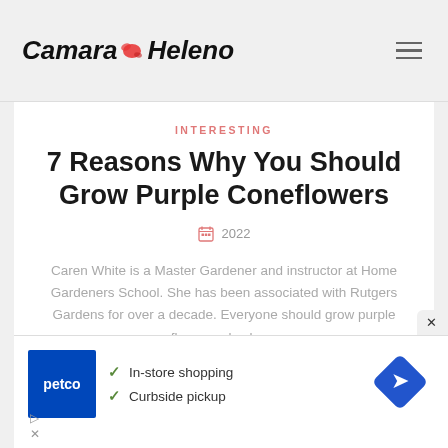Camara Heleno
INTERESTING
7 Reasons Why You Should Grow Purple Coneflowers
2022
Caren White is a Master Gardener and instructor at Home Gardeners School. She has been associated with Rutgers Gardens for over a decade. Everyone should grow purple coneflowers, also known as echinacea, in their flower beds or herb
[Figure (screenshot): Advertisement banner for Petco showing logo, checkmarks for In-store shopping and Curbside pickup, and a navigation/directions icon]